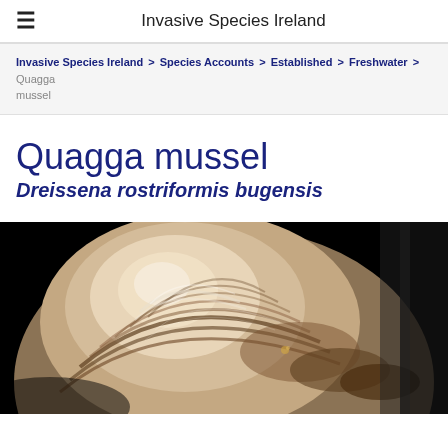≡  Invasive Species Ireland
Invasive Species Ireland > Species Accounts > Established > Freshwater > Quagga mussel
Quagga mussel
Dreissena rostriformis bugensis
[Figure (photo): Close-up photograph of a Quagga mussel shell against a black background, showing brown and white banding patterns and ridged growth lines on the shell surface.]